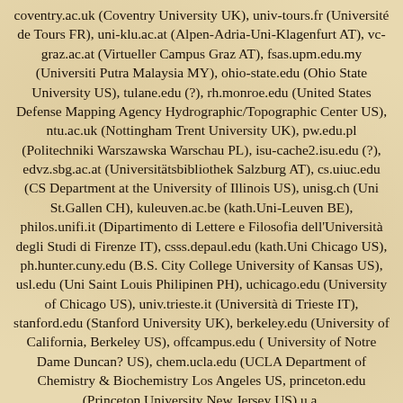coventry.ac.uk (Coventry University UK), univ-tours.fr (Université de Tours FR), uni-klu.ac.at (Alpen-Adria-Uni-Klagenfurt AT), vc-graz.ac.at (Virtueller Campus Graz AT), fsas.upm.edu.my (Universiti Putra Malaysia MY), ohio-state.edu (Ohio State University US), tulane.edu (?), rh.monroe.edu (United States Defense Mapping Agency Hydrographic/Topographic Center US), ntu.ac.uk (Nottingham Trent University UK), pw.edu.pl (Politechniki Warszawska Warschau PL), isu-cache2.isu.edu (?), edvz.sbg.ac.at (Universitätsbibliothek Salzburg AT), cs.uiuc.edu (CS Department at the University of Illinois US), unisg.ch (Uni St.Gallen CH), kuleuven.ac.be (kath.Uni-Leuven BE), philos.unifi.it (Dipartimento di Lettere e Filosofia dell'Università degli Studi di Firenze IT), csss.depaul.edu (kath.Uni Chicago US), ph.hunter.cuny.edu (B.S. City College University of Kansas US), usl.edu (Uni Saint Louis Philipinen PH), uchicago.edu (University of Chicago US), univ.trieste.it (Università di Trieste IT), stanford.edu (Stanford University UK), berkeley.edu (University of California, Berkeley US), offcampus.edu ( University of Notre Dame Duncan? US), chem.ucla.edu (UCLA Department of Chemistry & Biochemistry Los Angeles US, princeton.edu (Princeton University New Jersey US) u.a.